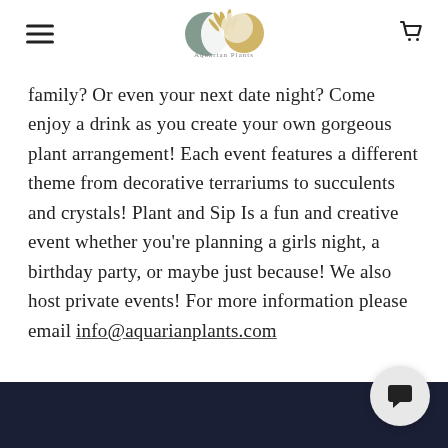Aquarian Plants navigation header with logo, hamburger menu, and cart icon
family? Or even your next date night? Come enjoy a drink as you create your own gorgeous plant arrangement! Each event features a different theme from decorative terrariums to succulents and crystals! Plant and Sip Is a fun and creative event whether you're planning a girls night, a birthday party, or maybe just because! We also host private events! For more information please email info@aquarianplants.com